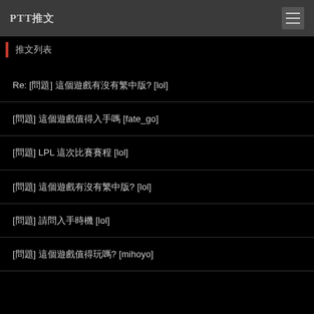PTT推文
推文列表
Re: [問題] 這個遊戲有沒有繁中版? [lol]
[問題] 這個遊戲值得入手嗎 [fate_go]
[問題] LPL 這次比賽賽程 [lol]
[問題] 這個遊戲有沒有繁中版? [lol]
[問題] 請問入手時機 [lol]
[問題] 這個遊戲值得玩嗎? [mihoyo]